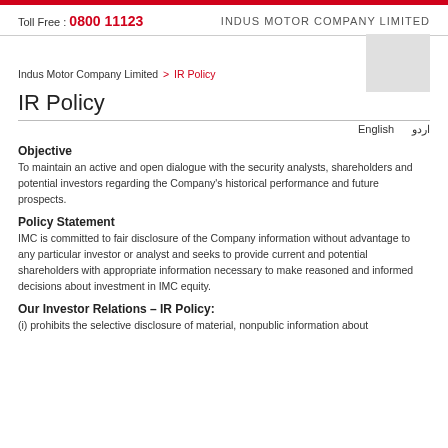Toll Free : 0800 11123    INDUS MOTOR COMPANY LIMITED
Indus Motor Company Limited > IR Policy
IR Policy
English    اردو
Objective
To maintain an active and open dialogue with the security analysts, shareholders and potential investors regarding the Company's historical performance and future prospects.
Policy Statement
IMC is committed to fair disclosure of the Company information without advantage to any particular investor or analyst and seeks to provide current and potential shareholders with appropriate information necessary to make reasoned and informed decisions about investment in IMC equity.
Our Investor Relations – IR Policy:
(i) prohibits the selective disclosure of material, nonpublic information about